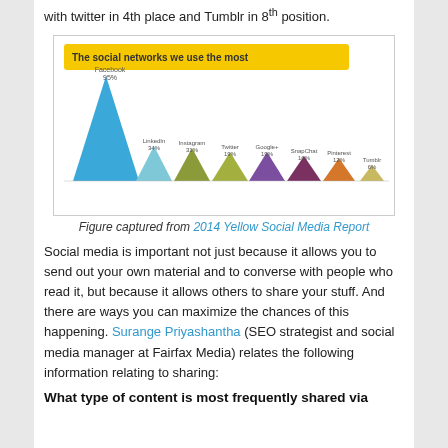with twitter in 4th place and Tumblr in 8th position.
[Figure (area-chart): The social networks we use the most]
Figure captured from 2014 Yellow Social Media Report
Social media is important not just because it allows you to send out your own material and to converse with people who read it, but because it allows others to share your stuff. And there are ways you can maximize the chances of this happening. Surange Priyashantha (SEO strategist and social media manager at Fairfax Media) relates the following information relating to sharing:
What type of content is most frequently shared via